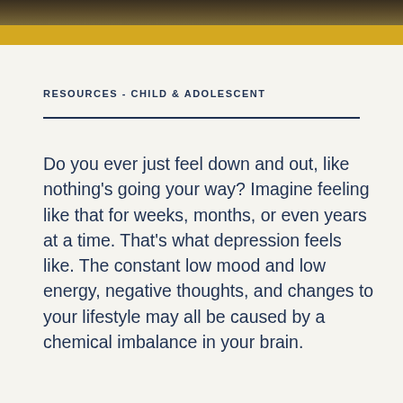[Figure (photo): Dark photo bar at top of page showing a nature or outdoor scene]
RESOURCES  -  CHILD & ADOLESCENT
Do you ever just feel down and out, like nothing's going your way? Imagine feeling like that for weeks, months, or even years at a time. That's what depression feels like. The constant low mood and low energy, negative thoughts, and changes to your lifestyle may all be caused by a chemical imbalance in your brain.